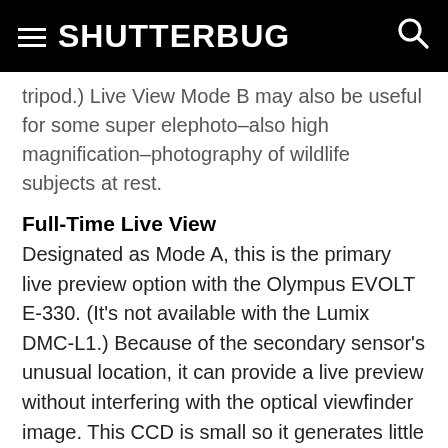SHUTTERBUG
tripod.) Live View Mode B may also be useful for some super elephoto–also high magnification–photography of wildlife subjects at rest.
Full-Time Live View
Designated as Mode A, this is the primary live preview option with the Olympus EVOLT E-330. (It's not available with the Lumix DMC-L1.) Because of the secondary sensor's unusual location, it can provide a live preview without interfering with the optical viewfinder image. This CCD is small so it generates little heat, making it useful for extended Live View. And because this secondary sensor is not used for capturing the actual image, any digital noise caused by heat buildup will not affect photo quality